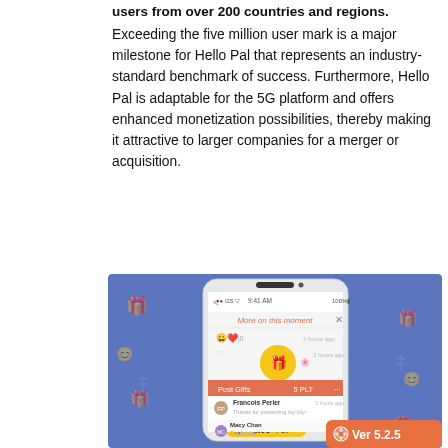users from over 200 countries and regions.
Exceeding the five million user mark is a major milestone for Hello Pal that represents an industry-standard benchmark of success. Furthermore, Hello Pal is adaptable for the 5G platform and offers enhanced monetization possibilities, thereby making it attractive to larger companies for a merger or acquisition.
[Figure (screenshot): Hello Pal app screenshot showing a smartphone with the app interface displaying 'More on this moment', Post Gifts screen with 5 PLT, Francois Perier sending a 5.00 PLT gift, Macy Chan comment, and a Ver 5.2.5 badge on an orange background. The phone is displayed on a blue patterned background.]